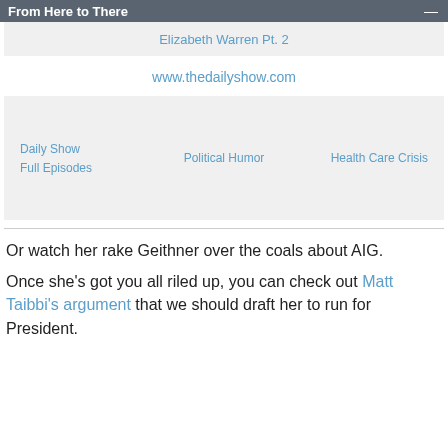From Here to There
Elizabeth Warren Pt. 2
www.thedailyshow.com
Daily Show
Full Episodes
Political Humor
Health Care Crisis
Or watch her rake Geithner over the coals about AIG.
Once she's got you all riled up, you can check out Matt Taibbi's argument that we should draft her to run for President.